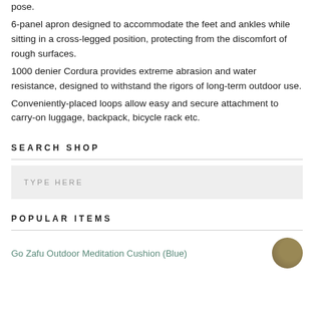pose.
6-panel apron designed to accommodate the feet and ankles while sitting in a cross-legged position, protecting from the discomfort of rough surfaces.
1000 denier Cordura provides extreme abrasion and water resistance, designed to withstand the rigors of long-term outdoor use.
Conveniently-placed loops allow easy and secure attachment to carry-on luggage, backpack, bicycle rack etc.
SEARCH SHOP
TYPE HERE
POPULAR ITEMS
Go Zafu Outdoor Meditation Cushion (Blue)